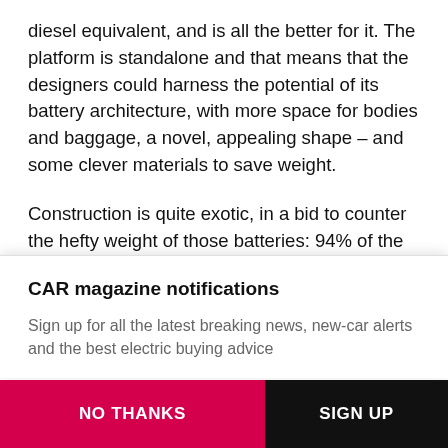diesel equivalent, and is all the better for it. The platform is standalone and that means that the designers could harness the potential of its battery architecture, with more space for bodies and baggage, a novel, appealing shape – and some clever materials to save weight.
Construction is quite exotic, in a bid to counter the hefty weight of those batteries: 94% of the materials are aluminium, and the i-Pace uses double-wishbone front and Integral Link rear suspension that are familiar from the
CAR magazine notifications
Sign up for all the latest breaking news, new-car alerts and the best electric buying advice
NO THANKS
SIGN UP